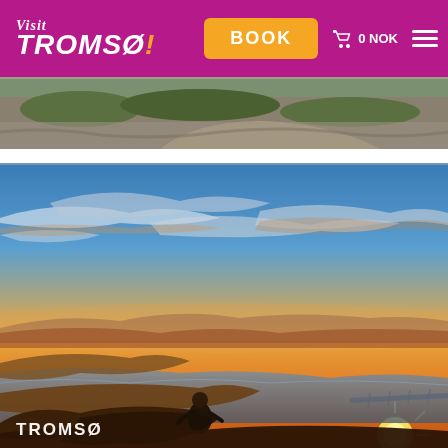Visit TROMSØ! — BOOK — 0 NOK — Menu
[Figure (photo): Partial landscape photo at top, showing rocky terrain with grass and a sandy path, cropped from a larger hero image.]
[Figure (photo): Aerial sunset panorama over Tromsø, Norway. A silhouetted figure stands on a hilltop overlooking fjords, bridges and city bathed in warm golden-orange light with dramatic clouds in a blue sky. Text overlay reads 'TROMSØ' at the bottom left.]